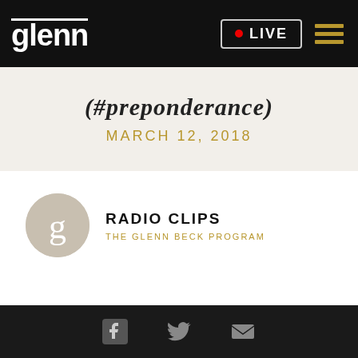glenn | LIVE
(#preponderance)
MARCH 12, 2018
[Figure (logo): Circular avatar with stylized lowercase 'g' representing Radio Clips / The Glenn Beck Program author icon]
RADIO CLIPS
THE GLENN BECK PROGRAM
Social icons: Facebook, Twitter, Email